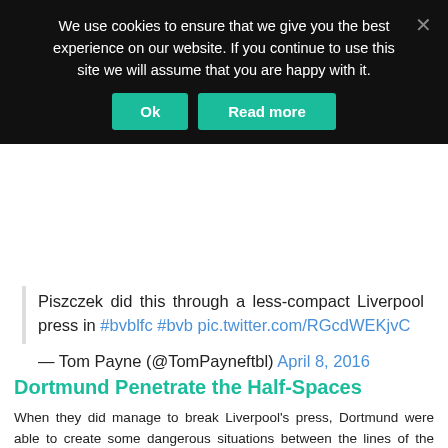We use cookies to ensure that we give you the best experience on our website. If you continue to use this site we will assume that you are happy with it.
Ok   Read more
Piszczek did this through a less-compact Liverpool press in #bvblfc #bvb pic.twitter.com/RGcdWEKjvC
— Tom Payne (@TomPayneftbl) April 8, 2016
Dortmund Penetrate the Half-Spaces
When they did manage to break Liverpool's press, Dortmund were able to create some dangerous situations between the lines of the defence. They quite frequently targeted the half-spaces with penetrative passes from deep where Mkhitaryan in particular received many vertical balls down the right.
[Figure (other): Tactical football diagram showing player positions on a green pitch with red and yellow dots representing players]
By drawing Liverpool's